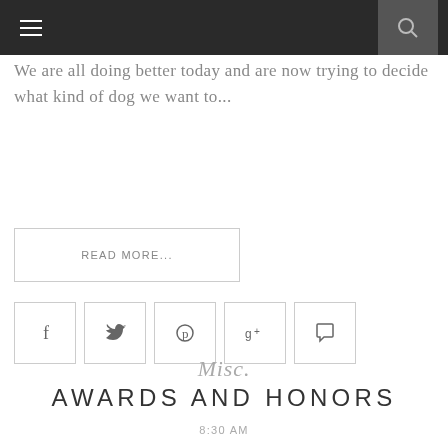Navigation bar with hamburger menu and search icon
We are all doing better today and are now trying to decide what kind of dog we want to...
READ MORE...
[Figure (other): Row of five social sharing icon buttons: Facebook (f), Twitter (bird), Pinterest (p), Google+ (g+), Comment (speech bubble)]
Misc.
AWARDS AND HONORS
8:30 AM